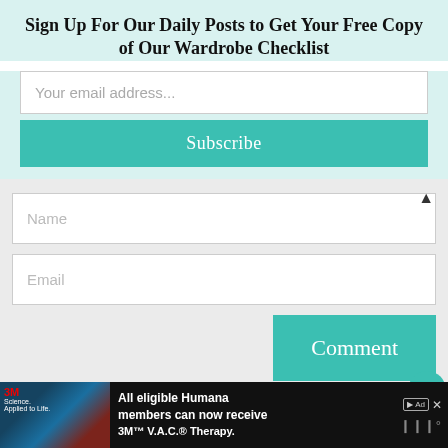Sign Up For Our Daily Posts to Get Your Free Copy of Our Wardrobe Checklist
Your email address...
Subscribe
Name
Email
Comment
Barb
All eligible Humana members can now receive 3M™ V.A.C.® Therapy.